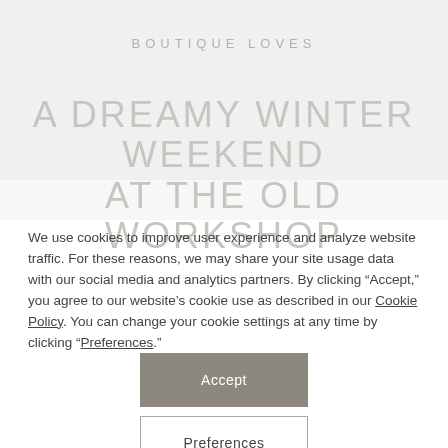BOUTIQUE LOVES
A DREAMY WINTER WEEKEND AT THE OLD WORKSHOP
We use cookies to improve user experience and analyze website traffic. For these reasons, we may share your site usage data with our social media and analytics partners. By clicking “Accept,” you agree to our website’s cookie use as described in our Cookie Policy. You can change your cookie settings at any time by clicking “Preferences.”
Accept
Preferences